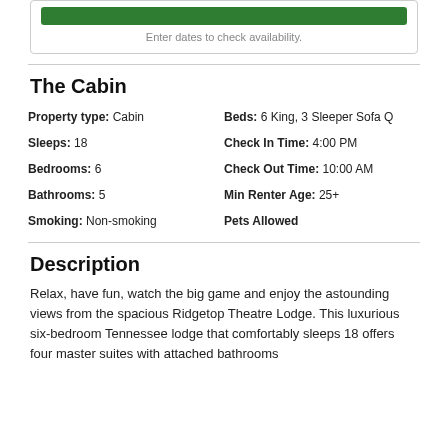Enter dates to check availability.
The Cabin
Property type: Cabin
Beds: 6 King, 3 Sleeper Sofa Q
Sleeps: 18
Check In Time: 4:00 PM
Bedrooms: 6
Check Out Time: 10:00 AM
Bathrooms: 5
Min Renter Age: 25+
Smoking: Non-smoking
Pets Allowed
Description
Relax, have fun, watch the big game and enjoy the astounding views from the spacious Ridgetop Theatre Lodge. This luxurious six-bedroom Tennessee lodge that comfortably sleeps 18 offers four master suites with attached bathrooms